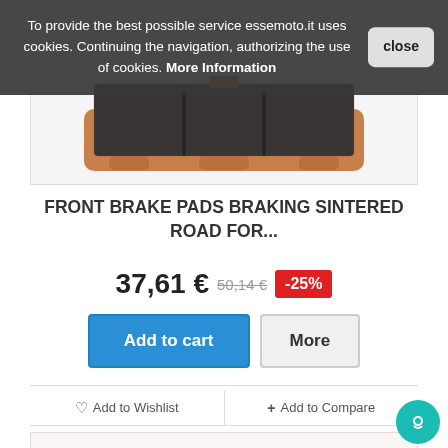To provide the best possible service essemoto.it uses cookies. Continuing the navigation, authorizing the use of cookies. More Information
[Figure (photo): Front brake pads product photo showing sintered brake pads with copper-colored metal backing and dark friction material]
FRONT BRAKE PADS BRAKING SINTERED ROAD FOR...
37,61 € 50,14 € -25%
Add to cart | More
♡ Add to Wishlist  + Add to Compare
[Figure (photo): Second brake pads product photo showing copper/bronze colored brake component from above]